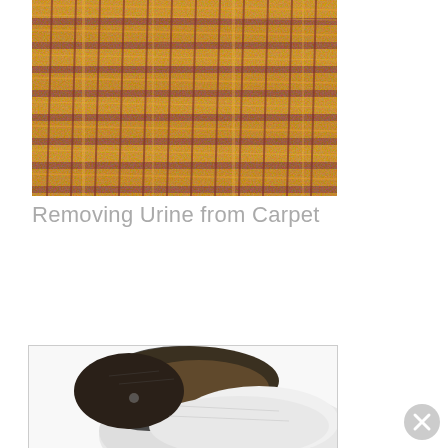[Figure (photo): Close-up macro photograph of woven carpet fibers in golden/amber and dark red/maroon colors, showing the texture of the weave pattern.]
Removing Urine from Carpet
[Figure (photo): Partial photo of a cat or dog lying down, showing white and dark fur, partially visible at the bottom of the page. A close (X) button appears in the lower right corner.]